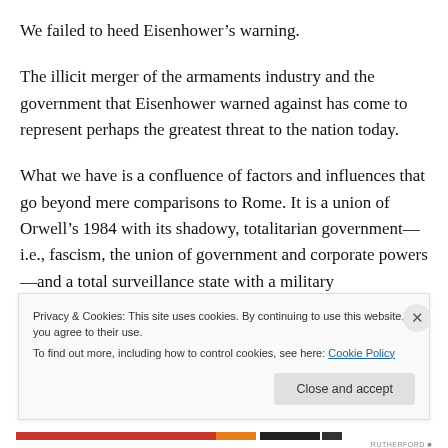We failed to heed Eisenhower’s warning.
The illicit merger of the armaments industry and the government that Eisenhower warned against has come to represent perhaps the greatest threat to the nation today.
What we have is a confluence of factors and influences that go beyond mere comparisons to Rome. It is a union of Orwell’s 1984 with its shadowy, totalitarian government—i.e., fascism, the union of government and corporate powers—and a total surveillance state with a military
Privacy & Cookies: This site uses cookies. By continuing to use this website, you agree to their use.
To find out more, including how to control cookies, see here: Cookie Policy
Close and accept